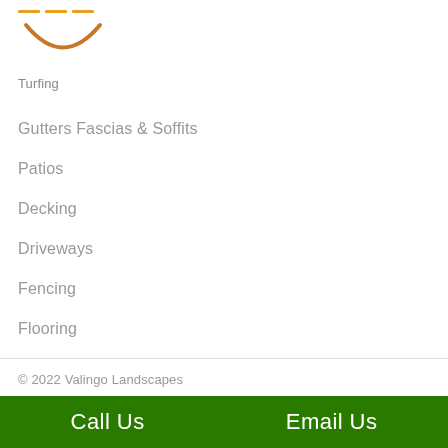[Figure (logo): Valingo Landscapes logo with orange lines and bowl/crescent shape, followed by text 'Turfing']
Gutters Fascias & Soffits
Patios
Decking
Driveways
Fencing
Flooring
© 2022 Valingo Landscapes
Sitemap | HTML Sitemap | Terms & Conditions | Privacy Policy
Cookies Policy
Call Us   Email Us